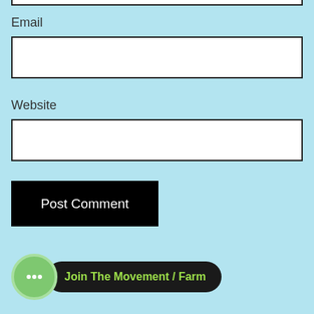[Figure (screenshot): Top of a white input box (partially visible at top of page)]
Email
[Figure (screenshot): White rectangular input field for Email]
Website
[Figure (screenshot): White rectangular input field for Website]
[Figure (screenshot): Black 'Post Comment' button]
[Figure (screenshot): Green chat icon circle with speech bubble dots, followed by black rounded button reading 'Join The Movement / Farm' in green text]